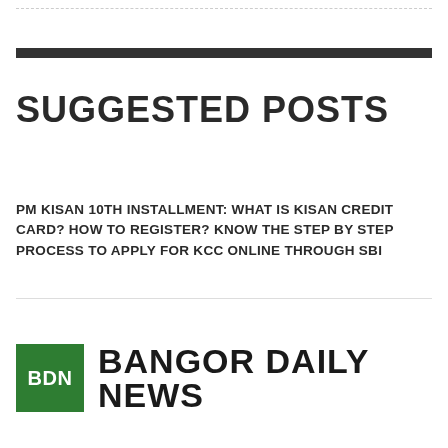SUGGESTED POSTS
PM KISAN 10TH INSTALLMENT: WHAT IS KISAN CREDIT CARD? HOW TO REGISTER? KNOW THE STEP BY STEP PROCESS TO APPLY FOR KCC ONLINE THROUGH SBI
[Figure (logo): Bangor Daily News logo: green square with white text 'BDN' followed by bold uppercase text 'BANGOR DAILY NEWS']